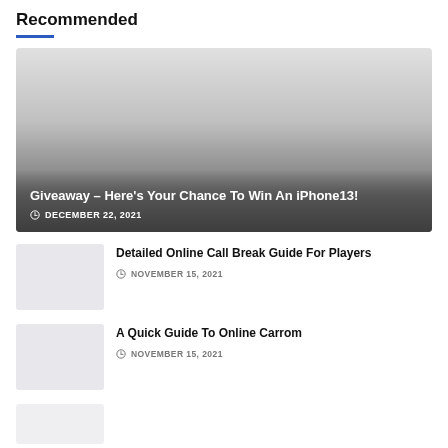Recommended
[Figure (photo): Featured article card with gradient overlay showing giveaway article]
Giveaway – Here's Your Chance To Win An iPhone13!
DECEMBER 22, 2021
[Figure (photo): Thumbnail image for Detailed Online Call Break Guide For Players]
Detailed Online Call Break Guide For Players
NOVEMBER 15, 2021
[Figure (photo): Thumbnail image for A Quick Guide To Online Carrom]
A Quick Guide To Online Carrom
NOVEMBER 15, 2021